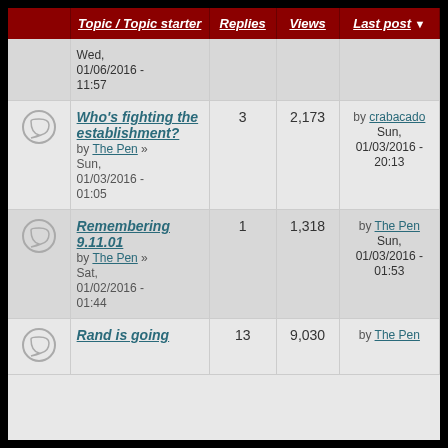|  | Topic / Topic starter | Replies | Views | Last post |
| --- | --- | --- | --- | --- |
| [icon] | Wed, 01/06/2016 - 11:57 |  |  |  |
| [icon] | Who's fighting the establishment?
by The Pen » Sun, 01/03/2016 - 01:05 | 3 | 2,173 | by crabacado
Sun, 01/03/2016 - 20:13 |
| [icon] | Remembering 9.11.01
by The Pen » Sat, 01/02/2016 - 01:44 | 1 | 1,318 | by The Pen
Sun, 01/03/2016 - 01:53 |
| [icon] | Rand is going... | 13 | 9,030 | by The Pen |